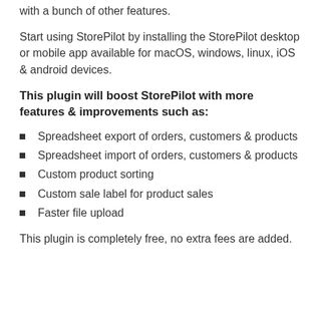with a bunch of other features.
Start using StorePilot by installing the StorePilot desktop or mobile app available for macOS, windows, linux, iOS & android devices.
This plugin will boost StorePilot with more features & improvements such as:
Spreadsheet export of orders, customers & products
Spreadsheet import of orders, customers & products
Custom product sorting
Custom sale label for product sales
Faster file upload
This plugin is completely free, no extra fees are added.